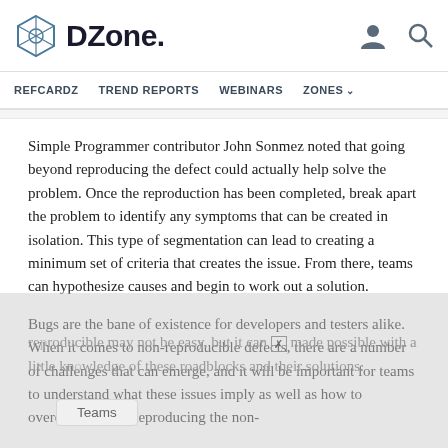DZone. REFCARDZ  TREND REPORTS  WEBINARS  ZONES
Simple Programmer contributor John Sonmez noted that going beyond reproducing the defect could actually help solve the problem. Once the reproduction has been completed, break apart the problem to identify any symptoms that can be created in isolation. This type of segmentation can lead to creating a minimum set of criteria that creates the issue. From there, teams can hypothesize causes and begin to work out a solution.
Bugs are the bane of existence for developers and testers alike. When it comes to non-reproducible defects, there are a number of challenges that can emerge, and it will be important for teams to understand what these issues imply as well as how to overcome them. Reproducing the non-reproducible may not be easy, but it can be made possible with a little knowledge of these roadblocks and their solutions.
Teams